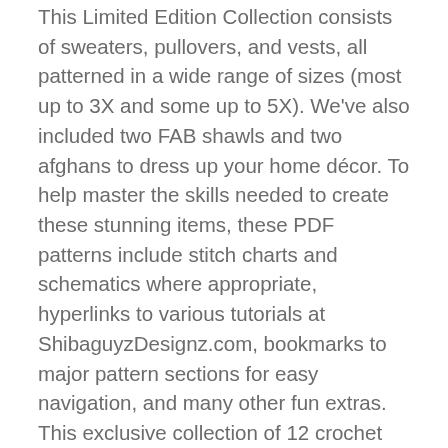This Limited Edition Collection consists of sweaters, pullovers, and vests, all patterned in a wide range of sizes (most up to 3X and some up to 5X). We've also included two FAB shawls and two afghans to dress up your home décor. To help master the skills needed to create these stunning items, these PDF patterns include stitch charts and schematics where appropriate, hyperlinks to various tutorials at ShibaguyzDesignz.com, bookmarks to major pattern sections for easy navigation, and many other fun extras. This exclusive collection of 12 crochet patterns is a superb addition to any crocheter's library.
Free shipping anywhere in the world!